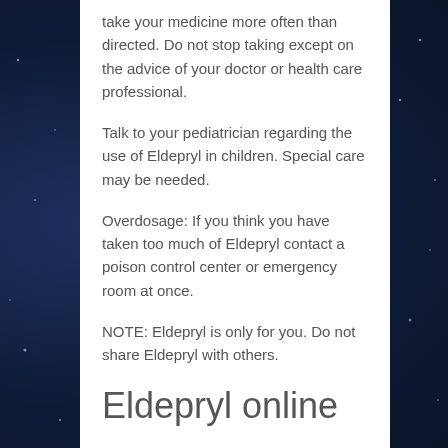take your medicine more often than directed. Do not stop taking except on the advice of your doctor or health care professional.
Talk to your pediatrician regarding the use of Eldepryl in children. Special care may be needed.
Overdosage: If you think you have taken too much of Eldepryl contact a poison control center or emergency room at once.
NOTE: Eldepryl is only for you. Do not share Eldepryl with others.
Eldepryl online